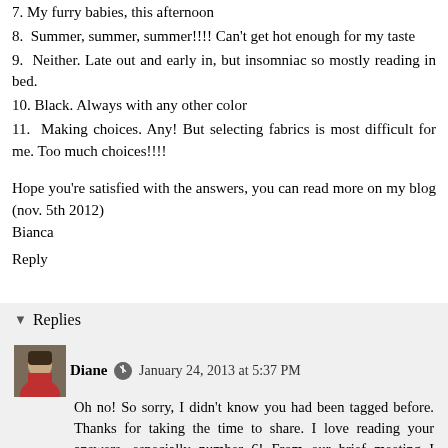7. My furry babies, this afternoon
8. Summer, summer, summer!!!! Can't get hot enough for my taste
9. Neither. Late out and early in, but insomniac so mostly reading in bed.
10. Black. Always with any other color
11. Making choices. Any! But selecting fabrics is most difficult for me. Too much choices!!!!
Hope you're satisfied with the answers, you can read more on my blog (nov. 5th 2012)
Bianca
Reply
Replies
Diane  January 24, 2013 at 5:37 PM
Oh no! So sorry, I didn't know you had been tagged before. Thanks for taking the time to share. I love reading your answers, especially number 6! From our brief meeting I would have